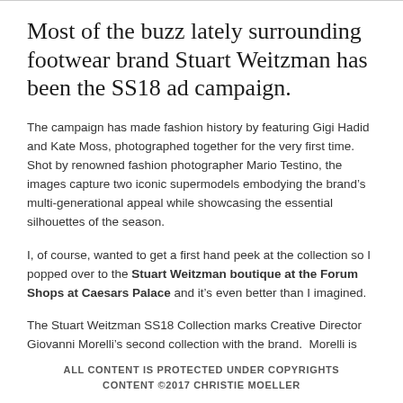Most of the buzz lately surrounding footwear brand Stuart Weitzman has been the SS18 ad campaign.
The campaign has made fashion history by featuring Gigi Hadid and Kate Moss, photographed together for the very first time. Shot by renowned fashion photographer Mario Testino, the images capture two iconic supermodels embodying the brand’s multi-generational appeal while showcasing the essential silhouettes of the season.
I, of course, wanted to get a first hand peek at the collection so I popped over to the Stuart Weitzman boutique at the Forum Shops at Caesars Palace and it’s even better than I imagined.
The Stuart Weitzman SS18 Collection marks Creative Director Giovanni Morelli’s second collection with the brand.  Morelli is the first person other than Mr. Weitzman himself to helm the accessories brand in its 32-
ALL CONTENT IS PROTECTED UNDER COPYRIGHTS
CONTENT ©2017 CHRISTIE MOELLER